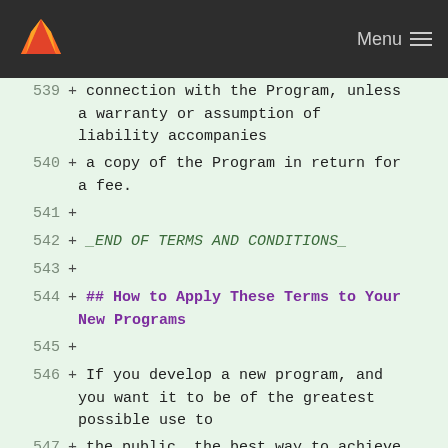Menu
539 + connection with the Program, unless a warranty or assumption of liability accompanies
540 + a copy of the Program in return for a fee.
541 +
542 + _END OF TERMS AND CONDITIONS_
543 +
544 + ## How to Apply These Terms to Your New Programs
545 +
546 + If you develop a new program, and you want it to be of the greatest possible use to
547 + the public, the best way to achieve this is to make it free software which everyone
548 + can redistribute and change under these terms.
549 +